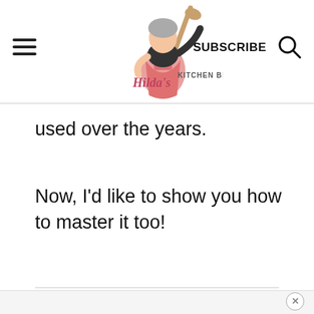Hilda's Kitchen Blog | SUBSCRIBE
used over the years.
Now, I'd like to show you how to master it too!
ADVERTISEMENT